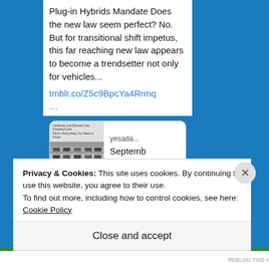Plug-in Hybrids Mandate Does the new law seem perfect? No. But for transitional shift impetus, this far reaching new law appears to become a trendsetter not only for vehicles...
tmblr.co/Z5c9BpcYa4Rrmq…
[Figure (screenshot): Preview card showing a blog post thumbnail with text 'California Just Banned Gas-Powered Cars. Here's Everything You Need to Know' and an image of traffic. Site label: yesada... Date: September 02, ...]
Privacy & Cookies: This site uses cookies. By continuing to use this website, you agree to their use.
To find out more, including how to control cookies, see here: Cookie Policy
Close and accept